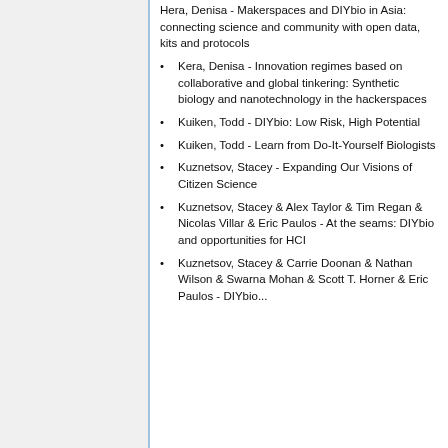Hera, Denisa - Makerspaces and DIYbio in Asia: connecting science and community with open data, kits and protocols
Kera, Denisa - Innovation regimes based on collaborative and global tinkering: Synthetic biology and nanotechnology in the hackerspaces
Kuiken, Todd - DIYbio: Low Risk, High Potential
Kuiken, Todd - Learn from Do-It-Yourself Biologists
Kuznetsov, Stacey - Expanding Our Visions of Citizen Science
Kuznetsov, Stacey & Alex Taylor & Tim Regan & Nicolas Villar & Eric Paulos - At the seams: DIYbio and opportunities for HCI
Kuznetsov, Stacey & Carrie Doonan & Nathan Wilson & Swarna Mohan & Scott T. Horner & Eric Paulos - DIYbio...